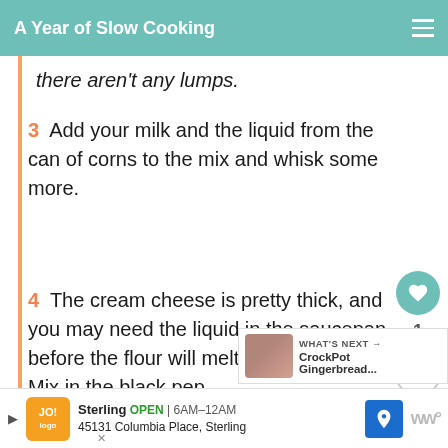A Year of Slow Cooking
there aren't any lumps.
3  Add your milk and the liquid from the can of corns to the mix and whisk some more.
4  The cream cheese is pretty thick, and you may need the liquid in the saucepan before the flour will melt nicely for you. Mix in the black pep…
5  I've learned a lot about
WHAT'S NEXT → CrockPot Gingerbread...
Sterling  OPEN | 6AM–12AM  45131 Columbia Place, Sterling